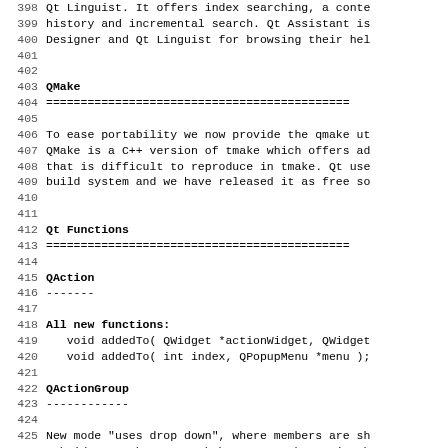398 Qt Linguist. It offers index searching, a conte
399 history and incremental search. Qt Assistant is
400 Designer and Qt Linguist for browsing their hel
403 QMake
404 ============================================
406 To ease portability we now provide the qmake ut
407 QMake is a C++ version of tmake which offers ad
408 that is difficult to reproduce in tmake. Qt use
409 build system and we have released it as free so
412 Qt Functions
413 ============================================
415 QAction
416 -------
418 All new functions:
419    void addedTo( QWidget *actionWidget, QWidget
420    void addedTo( int index, QPopupMenu *menu );
422 QActionGroup
423 ------------
425 New mode "uses drop down", where members are sh
426 subwidget such as a combobox or a submenu (enab
427 setUsesDropDown(TRUE) )